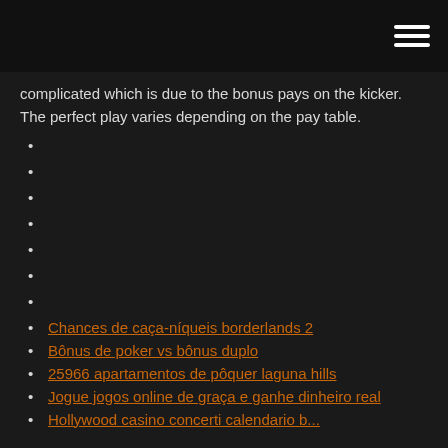complicated which is due to the bonus pays on the kicker. The perfect play varies depending on the pay table.
Chances de caça-níqueis borderlands 2
Bônus de poker vs bônus duplo
25966 apartamentos de pôquer laguna hills
Jogue jogos online de graça e ganhe dinheiro real
Hollywood casino concerti calendario b...